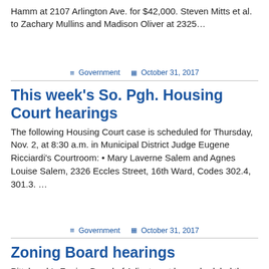Hamm at 2107 Arlington Ave. for $42,000. Steven Mitts et al. to Zachary Mullins and Madison Oliver at 2325…
Government  October 31, 2017
This week's So. Pgh. Housing Court hearings
The following Housing Court case is scheduled for Thursday, Nov. 2, at 8:30 a.m. in Municipal District Judge Eugene Ricciardi's Courtroom: • Mary Laverne Salem and Agnes Louise Salem, 2326 Eccles Street, 16th Ward, Codes 302.4, 301.3. …
Government  October 31, 2017
Zoning Board hearings
Pittsburgh's Zoning Board of Adjustment has scheduled the following public hearings of interest to South Pittsburgh residents in the first floor…